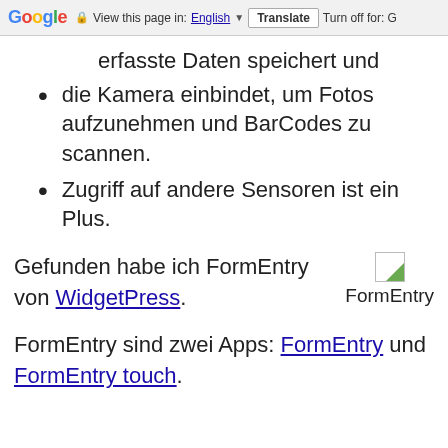Google | View this page in: English | Translate | Turn off for: G
erfasste Daten speichert und
die Kamera einbindet, um Fotos aufzunehmen und BarCodes zu scannen.
Zugriff auf andere Sensoren ist ein Plus.
Gefunden habe ich FormEntry von WidgetPress.
[Figure (illustration): Small image placeholder with green corner, labeled FormEntry]
FormEntry sind zwei Apps: FormEntry und FormEntry touch.